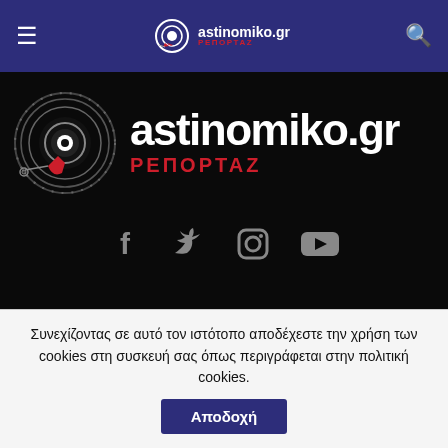astinomiko.gr ΡΕΠΟΡΤΑΖ
[Figure (logo): astinomiko.gr ΡΕΠΟΡΤΑΖ logo with camera/eye icon on black background with social media icons (Facebook, Twitter, Instagram, YouTube)]
Κατηγορίες
ΕΛΛΑΔΑ
ΕΝΟΠΛΕΣ ΔΥΝΑΜΕΙΣ
Συνεχίζοντας σε αυτό τον ιστότοπο αποδέχεστε την χρήση των cookies στη συσκευή σας όπως περιγράφεται στην πολιτική cookies.